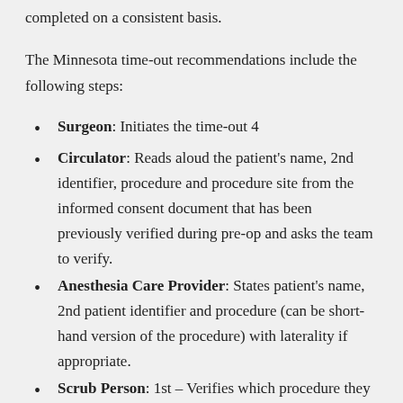completed on a consistent basis.
The Minnesota time-out recommendations include the following steps:
Surgeon: Initiates the time-out 4
Circulator: Reads aloud the patient's name, 2nd identifier, procedure and procedure site from the informed consent document that has been previously verified during pre-op and asks the team to verify.
Anesthesia Care Provider: States patient's name, 2nd patient identifier and procedure (can be short-hand version of the procedure) with laterality if appropriate.
Scrub Person: 1st – Verifies which procedure they have prepped — can be a shorthand version of the procedure; 2nd – Visualizes the mark, verbally indicating that he/she